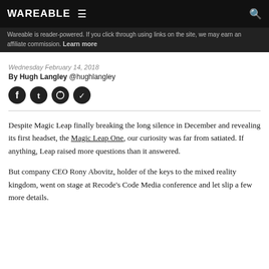WAREABLE
Wareable is reader-powered. If you click through using links on the site, we may earn an affiliate commission. Learn more
Wednesday February 14, 2018
By Hugh Langley @hughlangley
[Figure (other): Social share icons: Facebook, Twitter, Reddit, Pocket]
Despite Magic Leap finally breaking the long silence in December and revealing its first headset, the Magic Leap One, our curiosity was far from satiated. If anything, Leap raised more questions than it answered.
But company CEO Rony Abovitz, holder of the keys to the mixed reality kingdom, went on stage at Recode's Code Media conference and let slip a few more details.